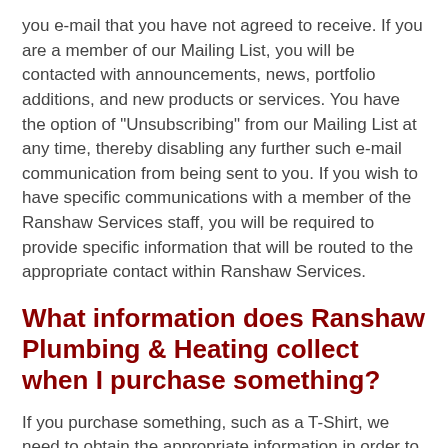you e-mail that you have not agreed to receive. If you are a member of our Mailing List, you will be contacted with announcements, news, portfolio additions, and new products or services. You have the option of "Unsubscribing" from our Mailing List at any time, thereby disabling any further such e-mail communication from being sent to you. If you wish to have specific communications with a member of the Ranshaw Services staff, you will be required to provide specific information that will be routed to the appropriate contact within Ranshaw Services.
What information does Ranshaw Plumbing & Heating collect when I purchase something?
If you purchase something, such as a T-Shirt, we need to obtain the appropriate information in order to complete the transaction. Depending upon the method of payment that